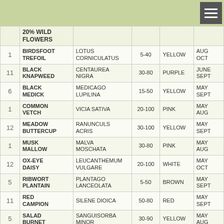|  | Name | Latin Name | Height | Color | Season |
| --- | --- | --- | --- | --- | --- |
|  | 20% WILD FLOWERS |  |  |  |  |
| 1 | BIRDSFOOT TREFOIL | LOTUS CORNICULATUS | 5-40 | YELLOW | AUG OCT |
| 11 | BLACK KNAPWEED | CENTAUREA NIGRA | 30-80 | PURPLE | JUNE SEPT |
| 6 | BLACK MEDICK | MEDICAGO LUPILINA | 15-50 | YELLOW | MAY SEPT |
| 1 | COMMON VETCH | VICIA SATIVA | 20-100 | PINK | MAY AUG |
| 12 | MEADOW BUTTERCUP | RANUNCULS ACRIS | 30-100 | YELLOW | MAY SEPT |
| 1 | MUSK MALLOW | MALVA MOSCHATA | 30-80 | PINK | MAY AUG |
| 12 | OX-EYE DAISY | LEUCANTHEMUM VULGARE | 20-100 | WHITE | MAY OCT |
| 5 | RIBWORT PLANTAIN | PLANTAGO LANCEOLATA | 5-50 | BROWN | MAY SEPT |
| 11 | RED CAMPION | SILENE DIOICA | 50-80 | RED | MAY SEPT |
| 5 | SALAD BURNET | SANGUISORBA MINOR | 30-90 | YELLOW | MAY AUG |
| 15 | SELF HEAL | PRUNELLA VULGARIS | 5-20 | PURPLE | JUNE SEPT |
|  | WHITE... |  |  |  | MAY... |